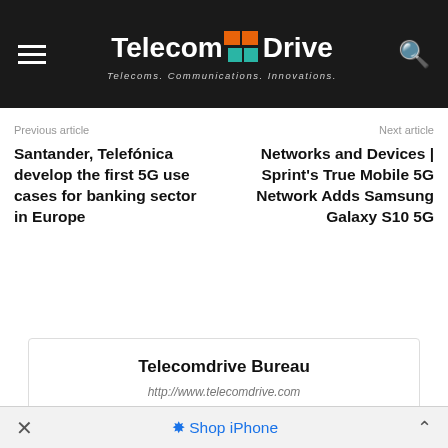Telecoms. Communications. Innovations. — Telecom Drive
Previous article
Santander, Telefónica develop the first 5G use cases for banking sector in Europe
Next article
Networks and Devices | Sprint's True Mobile 5G Network Adds Samsung Galaxy S10 5G
Telecomdrive Bureau
http://www.telecomdrive.com
Shop iPhone